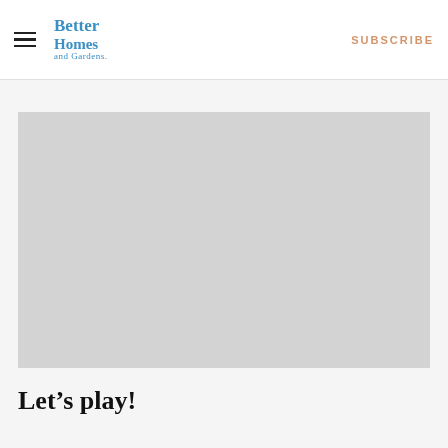Better Homes and Gardens | SUBSCRIBE
[Figure (photo): Gray placeholder image area]
Let’s play!